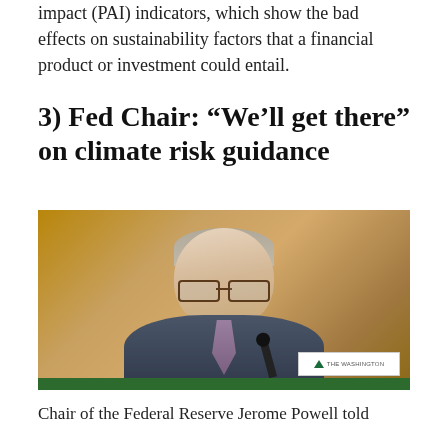impact (PAI) indicators, which show the bad effects on sustainability factors that a financial product or investment could entail.
3) Fed Chair: “We’ll get there” on climate risk guidance
[Figure (photo): Photograph of Federal Reserve Chair Jerome Powell speaking at a hearing, wearing a suit and glasses, with a microphone in front of him and a green nameplate visible.]
Chair of the Federal Reserve Jerome Powell told